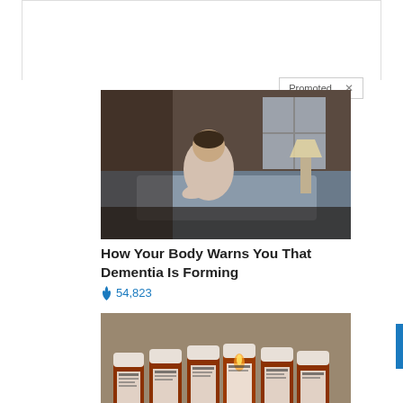Promoted ×
[Figure (photo): Elderly person sitting on a bed, hunched over, in a dimly lit room with a lamp and window visible in the background.]
How Your Body Warns You That Dementia Is Forming
🔥 54,823
[Figure (photo): Six amber prescription medicine bottles arranged in a row on a surface.]
Why Doctors In The Know No Longer Prescribe Blood Pressure Meds
🔥 122,198